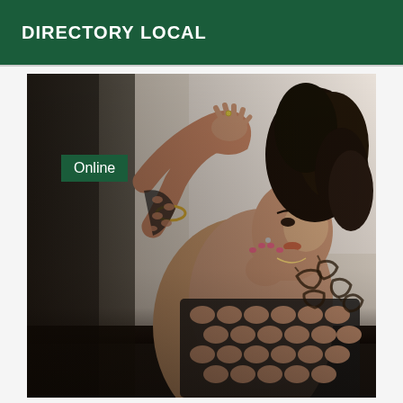DIRECTORY LOCAL
[Figure (photo): A woman with dark curly hair in a high ponytail, wearing a black fishnet/cutout bodysuit, showing leopard print tattoos on her back/side, posing against a light-colored wall. An 'Online' badge overlays the top-left of the image.]